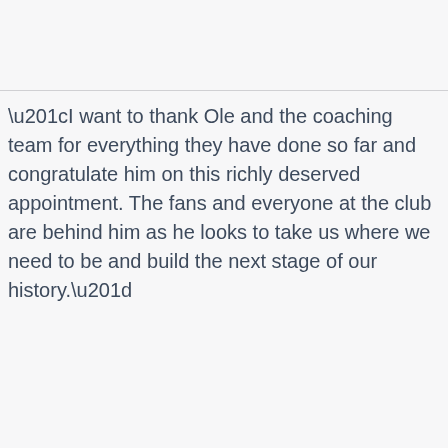“I want to thank Ole and the coaching team for everything they have done so far and congratulate him on this richly deserved appointment. The fans and everyone at the club are behind him as he looks to take us where we need to be and build the next stage of our history.”